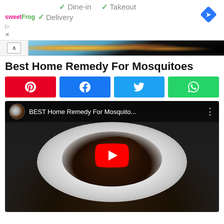[Figure (screenshot): Advertisement banner: sweetFrog logo, checkmarks for Dine-in, Takeout, Delivery options, blue diamond navigation icon]
[Figure (screenshot): Collapse/expand bar with up arrow button and partial image strip showing food photo]
Best Home Remedy For Mosquitoes
[Figure (screenshot): Social share buttons: Pinterest (red), Facebook (blue), Twitter (light blue), WhatsApp (green)]
[Figure (screenshot): YouTube video thumbnail showing 'BEST Home Remedy For Mosquito...' with a plate of dark brown powder on a marble surface, YouTube play button overlay]